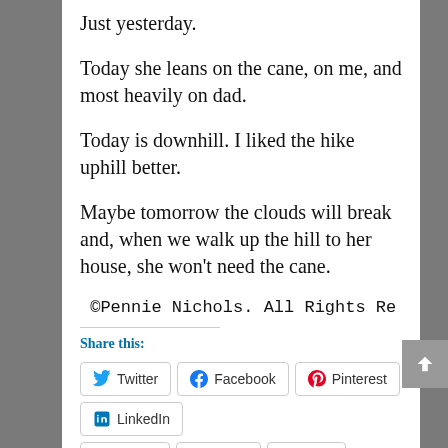Just yesterday.
Today she leans on the cane, on me, and most heavily on dad.
Today is downhill. I liked the hike uphill better.
Maybe tomorrow the clouds will break and, when we walk up the hill to her house, she won't need the cane.
©Pennie Nichols. All Rights Re[served]
Share this:
Twitter | Facebook | Pinterest | LinkedIn
Reddit | Email | Print